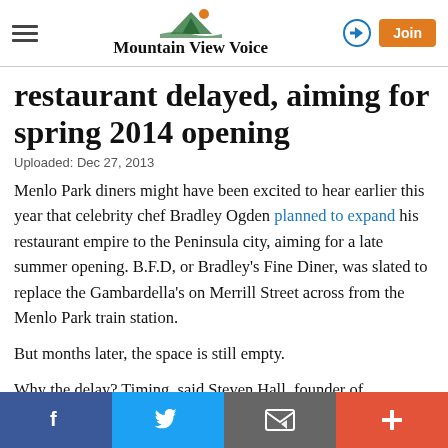Mountain View Voice
restaurant delayed, aiming for spring 2014 opening
Uploaded: Dec 27, 2013
Menlo Park diners might have been excited to hear earlier this year that celebrity chef Bradley Ogden planned to expand his restaurant empire to the Peninsula city, aiming for a late summer opening. B.F.D, or Bradley's Fine Diner, was slated to replace the Gambardella's on Merrill Street across from the Menlo Park train station.
But months later, the space is still empty.
Why the delay? Timing, said Steven Hall, founder of
Facebook | Twitter | Email | +